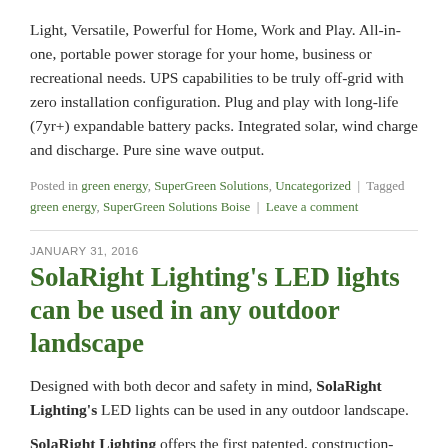Light, Versatile, Powerful for Home, Work and Play. All-in-one, portable power storage for your home, business or recreational needs. UPS capabilities to be truly off-grid with zero installation configuration. Plug and play with long-life (7yr+) expandable battery packs. Integrated solar, wind charge and discharge. Pure sine wave output.
Posted in green energy, SuperGreen Solutions, Uncategorized | Tagged green energy, SuperGreen Solutions Boise | Leave a comment
JANUARY 31, 2016
SolaRight Lighting's LED lights can be used in any outdoor landscape
Designed with both decor and safety in mind, SolaRight Lighting's LED lights can be used in any outdoor landscape.
SolaRight Lighting offers the first patented, construction-